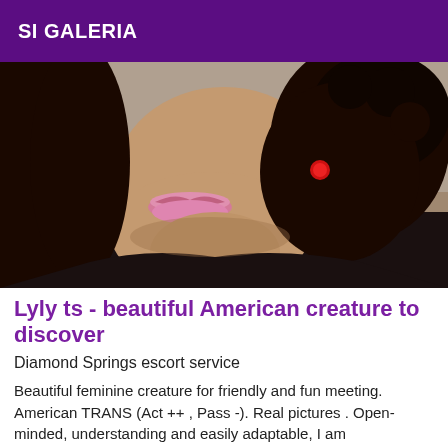SI GALERIA
[Figure (photo): Close-up photo of a person with curly dark hair, pink lipstick, red earring, wearing a dark top.]
Lyly ts - beautiful American creature to discover
Diamond Springs escort service
Beautiful feminine creature for friendly and fun meeting. American TRANS (Act ++ , Pass -). Real pictures . Open-minded, understanding and easily adaptable, I am